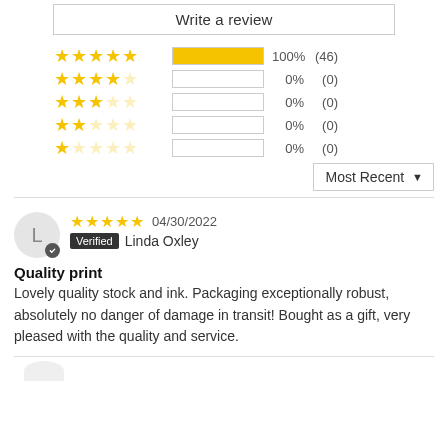Write a review
[Figure (infographic): Rating breakdown bars: 5-star 100% (46), 4-star 0% (0), 3-star 0% (0), 2-star 0% (0), 1-star 0% (0)]
Most Recent ▼
★★★★★ 04/30/2022 Verified Linda Oxley
Quality print
Lovely quality stock and ink. Packaging exceptionally robust, absolutely no danger of damage in transit! Bought as a gift, very pleased with the quality and service.